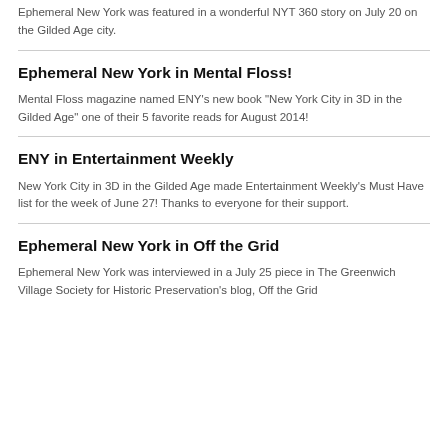Ephemeral New York was featured in a wonderful NYT 360 story on July 20 on the Gilded Age city.
Ephemeral New York in Mental Floss!
Mental Floss magazine named ENY's new book "New York City in 3D in the Gilded Age" one of their 5 favorite reads for August 2014!
ENY in Entertainment Weekly
New York City in 3D in the Gilded Age made Entertainment Weekly's Must Have list for the week of June 27! Thanks to everyone for their support.
Ephemeral New York in Off the Grid
Ephemeral New York was interviewed in a July 25 piece in The Greenwich Village Society for Historic Preservation's blog, Off the Grid